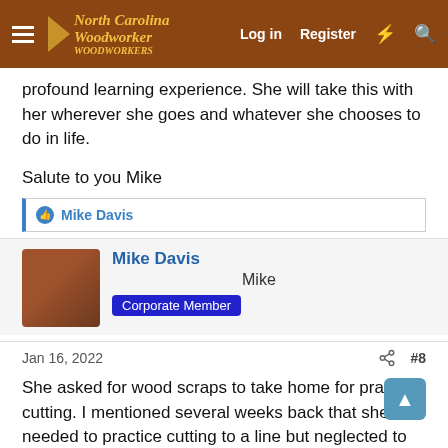North Carolina Woodworker — Log in | Register
profound learning experience. She will take this with her wherever she goes and whatever she chooses to do in life.
Salute to you Mike
👍 Mike Davis
Mike Davis
Mike
Corporate Member
Jan 16, 2022  #8
She asked for wood scraps to take home for practice cutting. I mentioned several weeks back that she needed to practice cutting to a line but neglected to see that she had everything she needed.
Robert LaPlaca